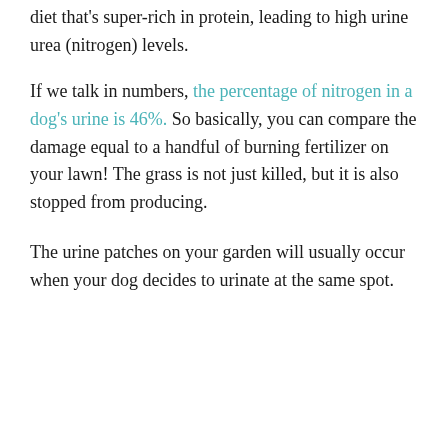diet that's super-rich in protein, leading to high urine urea (nitrogen) levels.
If we talk in numbers, the percentage of nitrogen in a dog's urine is 46%. So basically, you can compare the damage equal to a handful of burning fertilizer on your lawn! The grass is not just killed, but it is also stopped from producing.
The urine patches on your garden will usually occur when your dog decides to urinate at the same spot.